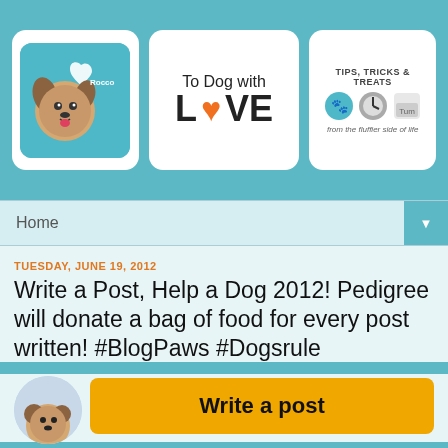[Figure (logo): Three blog logos: Rocco dog logo on teal background, 'To Dog With Love' logo with orange heart, 'Tips Tricks & Treats' logo]
Home
TUESDAY, JUNE 19, 2012
Write a Post, Help a Dog 2012! Pedigree will donate a bag of food for every post written! #BlogPaws #Dogsrule
[Figure (illustration): Orange 'Write a post' button with dog illustration partially visible at bottom]